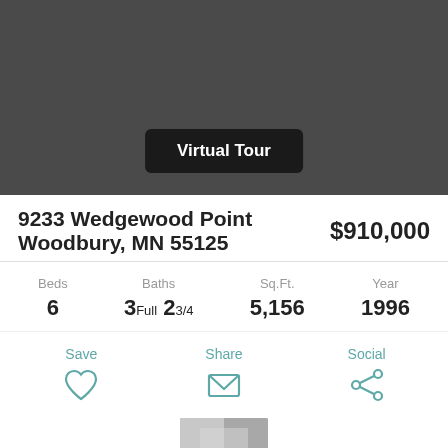[Figure (photo): Dark gray placeholder photo area for property listing with a Virtual Tour button overlay]
9233 Wedgewood Point Woodbury, MN 55125
$910,000
Beds 6   Baths 3Full 2 3/4   Sq.Ft. 5,156   Year 1996
Save  Share  Social